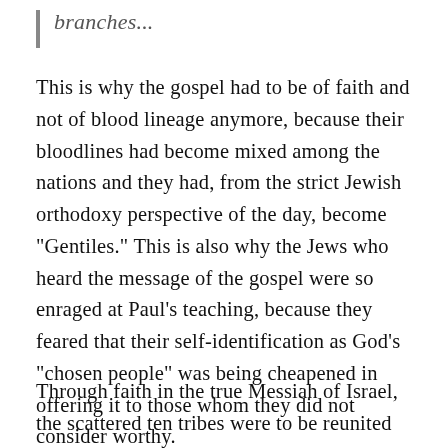branches...
This is why the gospel had to be of faith and not of blood lineage anymore, because their bloodlines had become mixed among the nations and they had, from the strict Jewish orthodoxy perspective of the day, become “Gentiles.” This is also why the Jews who heard the message of the gospel were so enraged at Paul’s teaching, because they feared that their self-identification as God’s “chosen people” was being cheapened in offering it to those whom they did not consider worthy.
Through faith in the true Messiah of Israel, the scattered ten tribes were to be reunited with